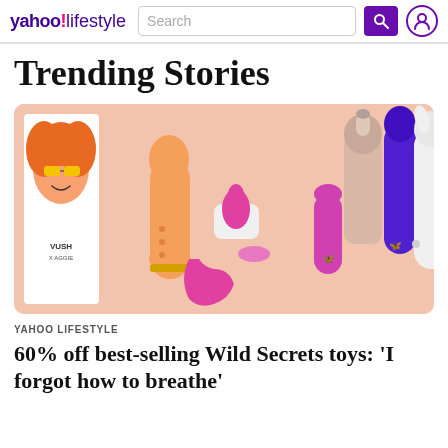yahoo!lifestyle | Search
Trending Stories
[Figure (photo): Product photo showing various adult wellness toys from Wild Secrets and Vush x Aggie collection on a soft pink background, including orange, pink, purple, and white devices.]
YAHOO LIFESTYLE
60% off best-selling Wild Secrets toys: 'I forgot how to breathe'